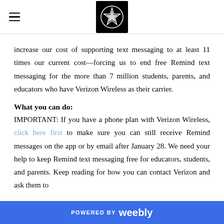[hamburger menu icon] [logo: star emblem]
increase our cost of supporting text messaging to at least 11 times our current cost—forcing us to end free Remind text messaging for the more than 7 million students, parents, and educators who have Verizon Wireless as their carrier.
What you can do:
IMPORTANT: If you have a phone plan with Verizon Wireless, click here first to make sure you can still receive Remind messages on the app or by email after January 28. We need your help to keep Remind text messaging free for educators, students, and parents. Keep reading for how you can contact Verizon and ask them to
POWERED BY weebly